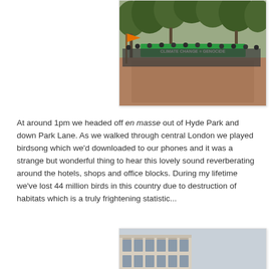[Figure (photo): Protest march in a park with people holding a large green banner reading 'CLIMATE CHANGE = GENOCIDE' and an orange flag]
At around 1pm we headed off en masse out of Hyde Park and down Park Lane. As we walked through central London we played birdsong which we'd downloaded to our phones and it was a strange but wonderful thing to hear this lovely sound reverberating around the hotels, shops and office blocks. During my lifetime we've lost 44 million birds in this country due to destruction of habitats which is a truly frightening statistic...
[Figure (photo): Partial view of a large classical stone building facade, showing ornate windows and stonework]